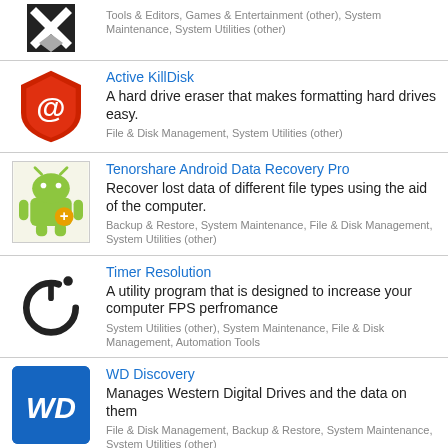Tools & Editors, Games & Entertainment (other), System Maintenance, System Utilities (other)
Active KillDisk
A hard drive eraser that makes formatting hard drives easy.
File & Disk Management, System Utilities (other)
Tenorshare Android Data Recovery Pro
Recover lost data of different file types using the aid of the computer.
Backup & Restore, System Maintenance, File & Disk Management, System Utilities (other)
Timer Resolution
A utility program that is designed to increase your computer FPS perfromance
System Utilities (other), System Maintenance, File & Disk Management, Automation Tools
WD Discovery
Manages Western Digital Drives and the data on them
File & Disk Management, Backup & Restore, System Maintenance, System Utilities (other)